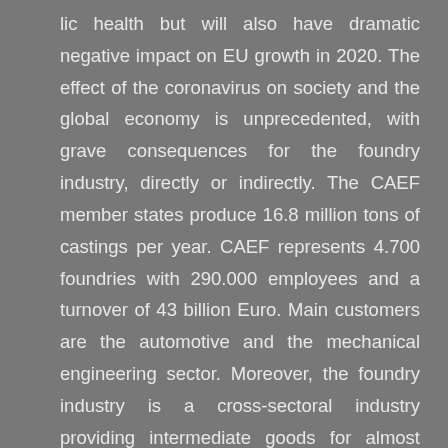lic health but will also have dramatic negative impact on EU growth in 2020. The effect of the coronavirus on society and the global economy is unprecedented, with grave consequences for the foundry industry, directly or indirectly. The CAEF member states produce 16.8 million tons of castings per year. CAEF represents 4.700 foundries with 290.000 employees and a turnover of 43 billion Euro. Main customers are the automotive and the mechanical engineering sector. Moreover, the foundry industry is a cross-sectoral industry providing intermediate goods for almost every economic sector. Therefore, it is vital to prevent shutdowns where